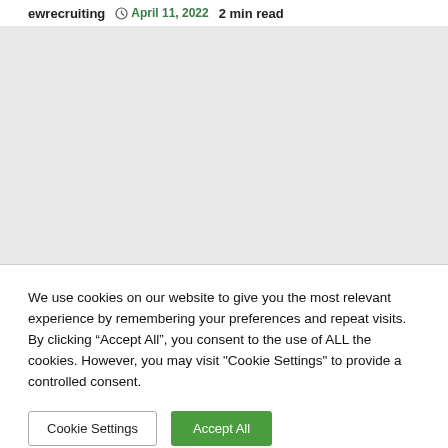ewrecruiting  April 11, 2022  2 min read
[Figure (other): Gray image/content placeholder area]
We use cookies on our website to give you the most relevant experience by remembering your preferences and repeat visits. By clicking “Accept All”, you consent to the use of ALL the cookies. However, you may visit "Cookie Settings" to provide a controlled consent.
Cookie Settings  Accept All